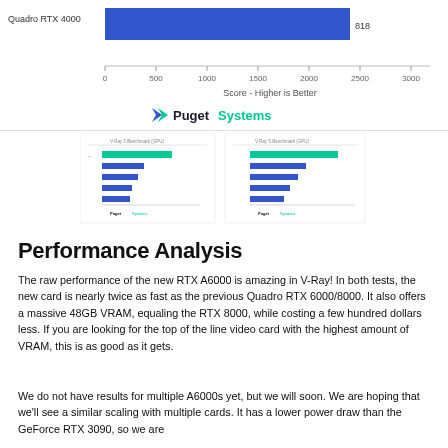[Figure (bar-chart): V-Ray benchmark]
[Figure (other): Two small Puget Systems bar chart thumbnails side by side showing multiple GPU benchmark comparisons]
Performance Analysis
The raw performance of the new RTX A6000 is amazing in V-Ray! In both tests, the new card is nearly twice as fast as the previous Quadro RTX 6000/8000. It also offers a massive 48GB VRAM, equaling the RTX 8000, while costing a few hundred dollars less. If you are looking for the top of the line video card with the highest amount of VRAM, this is as good as it gets.
We do not have results for multiple A6000s yet, but we will soon. We are hoping that we'll see a similar scaling with multiple cards. It has a lower power draw than the GeForce RTX 3090, so we are